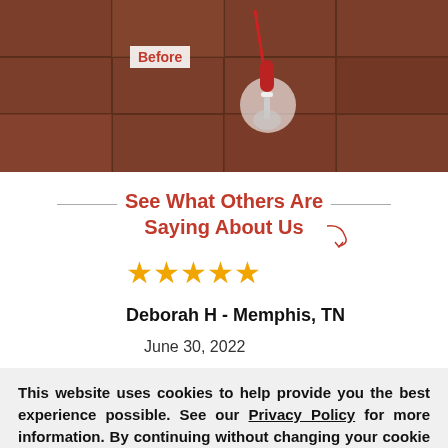[Figure (photo): Before photo showing tiled floor with a toothbrush/cleaning tool placed near a drain, with 'Before' label in red on white background overlay in top-left corner.]
See What Others Are Saying About Us
★★★★★
Deborah H - Memphis, TN
June 30, 2022
This website uses cookies to help provide you the best experience possible. See our Privacy Policy for more information. By continuing without changing your cookie settings within your browser, you are agreeing to our use of cookies.
ACCEPT